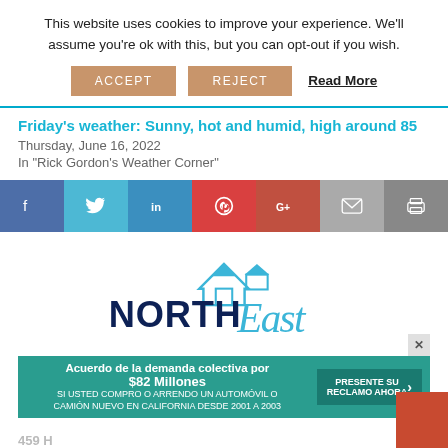This website uses cookies to improve your experience. We'll assume you're ok with this, but you can opt-out if you wish.
ACCEPT  REJECT  Read More
Friday's weather: Sunny, hot and humid, high around 85
Thursday, June 16, 2022
In "Rick Gordon's Weather Corner"
[Figure (infographic): Social sharing bar with icons for Facebook, Twitter, LinkedIn, Pinterest, Google+, Email, and Print]
[Figure (logo): NORTHEast logo with house icon]
Acuerdo de la demanda colectiva por $82 Millones SI USTED COMPRO O ARRENDO UN AUTOMÓVIL O CAMIÓN NUEVO EN CALIFORNIA DESDE 2001 A 2003 PRESENTE SU RECLAMO AHORA
459 H...